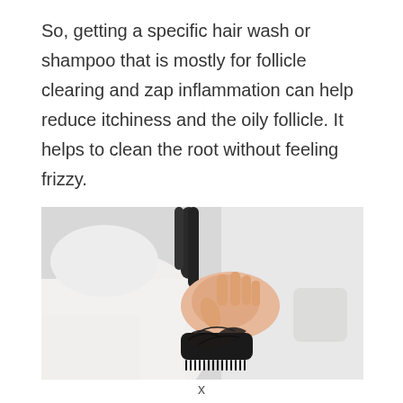So, getting a specific hair wash or shampoo that is mostly for follicle clearing and zap inflammation can help reduce itchiness and the oily follicle. It helps to clean the root without feeling frizzy.
[Figure (photo): A person in a white shirt holding a hairbrush with fallen hair strands wrapped around it, set against a blurred light grey background.]